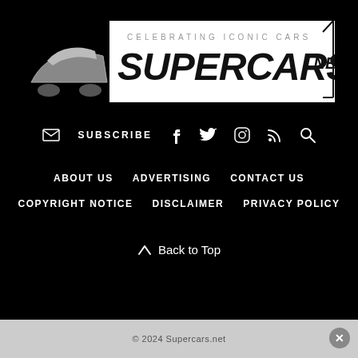[Figure (logo): Supercars.net logo with sports car illustration and text 'CELEBRATING ICONIC CARS SUPERCARS.NET']
SUBSCRIBE  f  twitter  instagram  rss  search
ABOUT US   ADVERTISING   CONTACT US
COPYRIGHT NOTICE   DISCLAIMER   PRIVACY POLICY
Back to Top
© 2024 Supercars.net